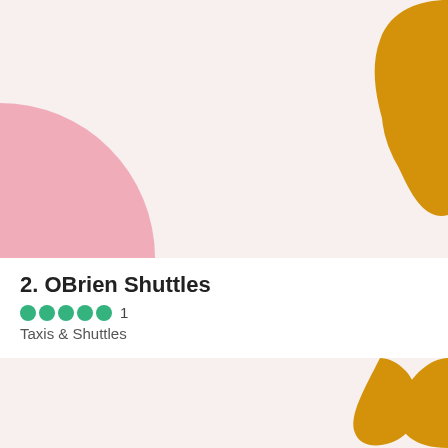[Figure (illustration): Decorative background with pink circle on left, yellow/gold wavy blob on top-right, and light pink background — top section]
2. OBrien Shuttles
●●●●●  1
Taxis & Shuttles
[Figure (illustration): Decorative background with yellow/gold wavy blob on right side and light pink background — bottom section]